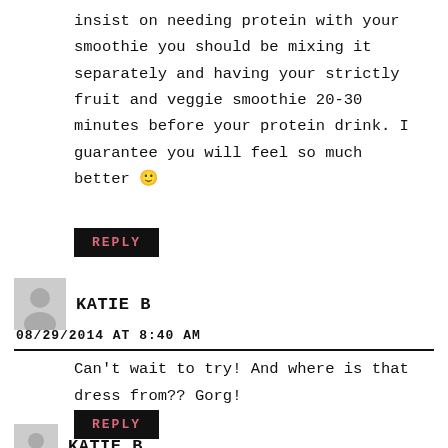insist on needing protein with your smoothie you should be mixing it separately and having your strictly fruit and veggie smoothie 20-30 minutes before your protein drink. I guarantee you will feel so much better 🙂
REPLY
KATIE B
08/29/2014 AT 8:40 AM
Can't wait to try! And where is that dress from?? Gorg!
REPLY
KATIE B